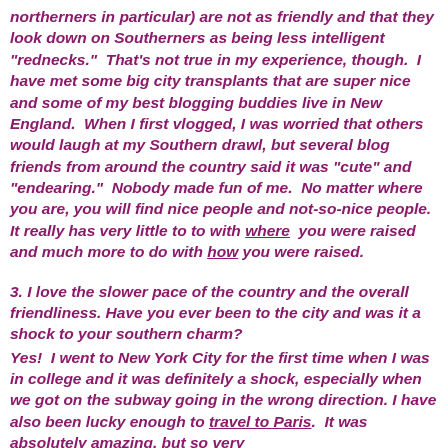northerners in particular) are not as friendly and that they look down on Southerners as being less intelligent "rednecks."  That's not true in my experience, though.  I have met some big city transplants that are super nice and some of my best blogging buddies live in New England.  When I first vlogged, I was worried that others would laugh at my Southern drawl, but several blog friends from around the country said it was "cute" and "endearing."  Nobody made fun of me.  No matter where you are, you will find nice people and not-so-nice people.  It really has very little to to with where  you were raised and much more to do with how you were raised.
3. I love the slower pace of the country and the overall friendliness. Have you ever been to the city and was it a shock to your southern charm?
Yes!  I went to New York City for the first time when I was in college and it was definitely a shock, especially when we got on the subway going in the wrong direction. I have also been lucky enough to travel to Paris.  It was absolutely amazing, but so very